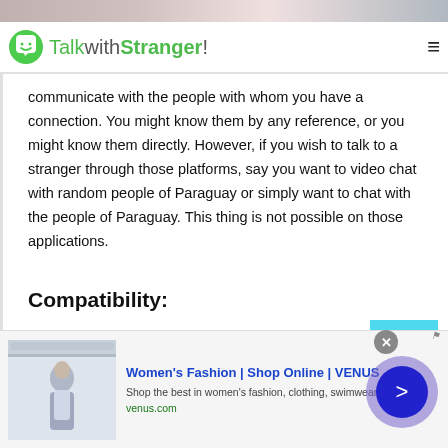TalkwithStranger!
communicate with the people with whom you have a connection. You might know them by any reference, or you might know them directly. However, if you wish to talk to a stranger through those platforms, say you want to video chat with random people of Paraguay or simply want to chat with the people of Paraguay. This thing is not possible on those applications.
Compatibility:
The talk with stranger platform is compatible on
[Figure (screenshot): Advertisement banner for Women's Fashion at VENUS online shop, showing a fashion model image on the left, ad title 'Women's Fashion | Shop Online | VENUS', description 'Shop the best in women's fashion, clothing, swimwear', and URL venus.com]